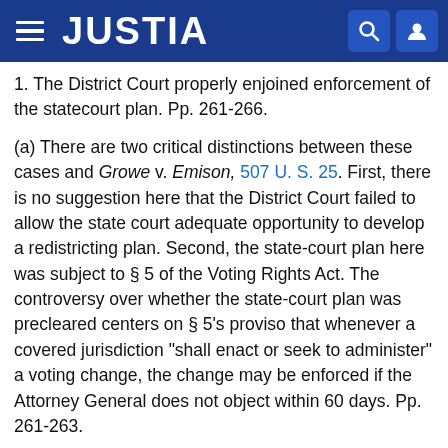JUSTIA
1. The District Court properly enjoined enforcement of the statecourt plan. Pp. 261-266.
(a) There are two critical distinctions between these cases and Growe v. Emison, 507 U. S. 25. First, there is no suggestion here that the District Court failed to allow the state court adequate opportunity to develop a redistricting plan. Second, the state-court plan here was subject to § 5 of the Voting Rights Act. The controversy over whether the state-court plan was precleared centers on § 5's proviso that whenever a covered jurisdiction "shall enact or seek to administer" a voting change, the change may be enforced if the Attorney General does not object within 60 days. Pp. 261-263.
(b) DOJ's failure to object within 60 days of the state attorney general's original submission did not render the state-court plan enforceable on February 25. A